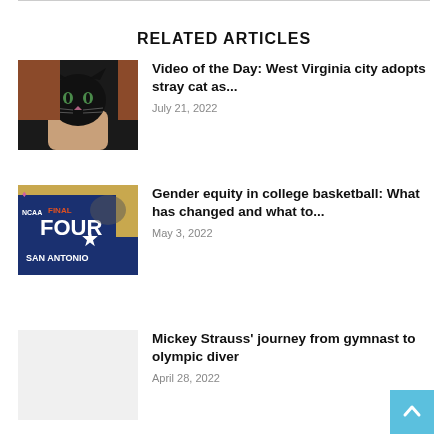RELATED ARTICLES
[Figure (photo): Person holding a small black kitten]
Video of the Day: West Virginia city adopts stray cat as...
July 21, 2022
[Figure (photo): NCAA Final Four San Antonio basketball signage with pink ribbon]
Gender equity in college basketball: What has changed and what to...
May 3, 2022
Mickey Strauss’ journey from gymnast to olympic diver
April 28, 2022